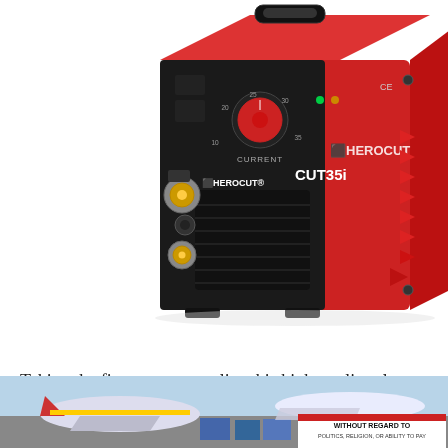[Figure (photo): HEROCUT CUT35i plasma cutter — red and black box-shaped device with control panel showing current dial and indicators, ventilation slots on the right side, gold-colored air/torch connectors on the front left, brand name HEROCUT and model CUT35i visible.]
Taking the first spot on our list, this high-quality plasma cutter comes stacked with features you need to enjoy a user experience like no other.
[Figure (photo): Advertisement banner showing airplanes on a tarmac with cargo, with text 'WITHOUT REGARD TO POLITICS, RELIGION, OR ABILITY TO PAY' on the right side.]